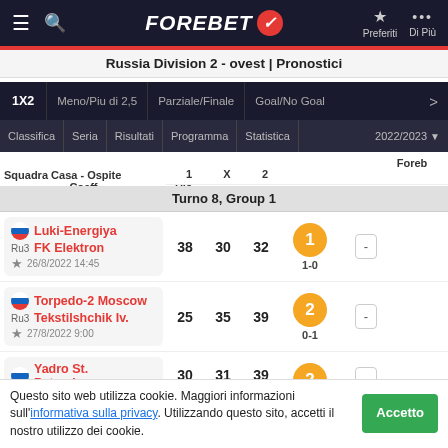FOREBET | Preferiti | Di Più
Russia Division 2 - ovest | Pronostici
1X2 | Meno/Piu di 2,5 | Parziale/Finale | Goal/No Goal
Classifica | Seria | Risultati | Programma | Statistica | 2022/2023
| Squadra Casa - Ospite | 1 | X | 2 | Forebet | Coeff. | Ris. |
| --- | --- | --- | --- | --- | --- | --- |
| Turno 8, Group 1 |  |  |  |  |  |  |
| Luki-Energiya / FK Elektron / 26/8/2022 14:45 | 38 | 30 | 32 | 1 / 1-0 | - |  |
| Torpedo-2 Moscow / Tekstilshchik Iv. / 27/8/2022 9:00 | 25 | 35 | 39 | 2 / 0-1 | - |  |
| Yadro St. Petersburg / Zorkyi Krasnogorsk | 30 | 31 | 39 | 2 | - |  |
Questo sito web utilizza cookie. Maggiori informazioni sull'informativa sulla privacy. Utilizzando questo sito, accetti il nostro utilizzo dei cookie.